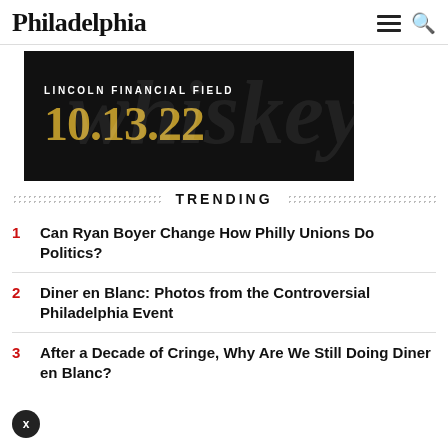Philadelphia
[Figure (illustration): Event promotional banner on black background showing 'LINCOLN FINANCIAL FIELD' in white uppercase text and '10.13.22' in large gold serif font with faint cursive watermark text in background]
TRENDING
1 Can Ryan Boyer Change How Philly Unions Do Politics?
2 Diner en Blanc: Photos from the Controversial Philadelphia Event
3 After a Decade of Cringe, Why Are We Still Doing Diner en Blanc?